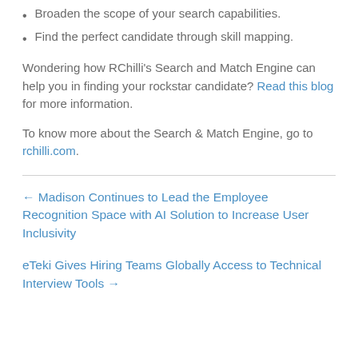Broaden the scope of your search capabilities.
Find the perfect candidate through skill mapping.
Wondering how RChilli's Search and Match Engine can help you in finding your rockstar candidate? Read this blog for more information.
To know more about the Search & Match Engine, go to rchilli.com.
← Madison Continues to Lead the Employee Recognition Space with AI Solution to Increase User Inclusivity
eTeki Gives Hiring Teams Globally Access to Technical Interview Tools →